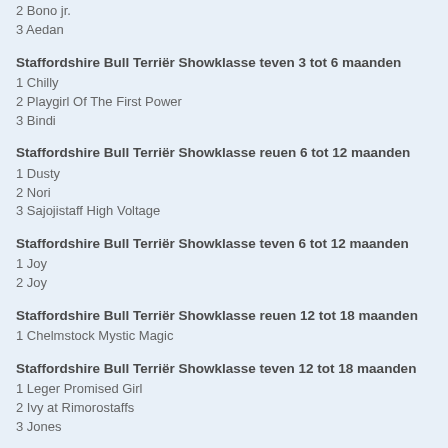2 Bono jr.
3 Aedan
Staffordshire Bull Terriër Showklasse teven 3 tot 6 maanden
1 Chilly
2 Playgirl Of The First Power
3 Bindi
Staffordshire Bull Terriër Showklasse reuen 6 tot 12 maanden
1 Dusty
2 Nori
3 Sajojistaff High Voltage
Staffordshire Bull Terriër Showklasse teven 6 tot 12 maanden
1 Joy
2 Joy
Staffordshire Bull Terriër Showklasse reuen 12 tot 18 maanden
1 Chelmstock Mystic Magic
Staffordshire Bull Terriër Showklasse teven 12 tot 18 maanden
1 Leger Promised Girl
2 Ivy at Rimorostaffs
3 Jones
Staffordshire Bull Terriër Showklasse reuen v.a. 18 maanden
1 Troy
2 Quinlent Buckle Thor
3 Stef
Staffordshire Bull Terriër Showklasse teven v.a. 18 maanden
1 Staffioy's Phoebe Pember